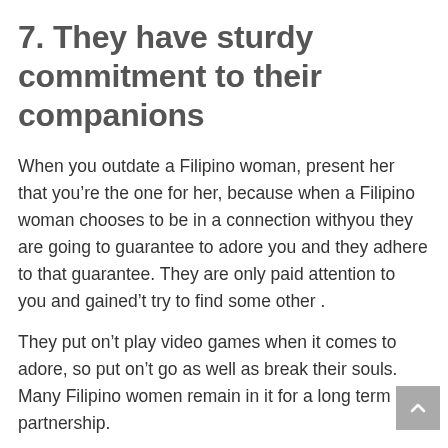7. They have sturdy commitment to their companions
When you outdate a Filipino woman, present her that you’re the one for her, because when a Filipino woman chooses to be in a connection withyou they are going to guarantee to adore you and they adhere to that guarantee. They are only paid attention to you and gained’t try to find some other .
They put on’t play video games when it comes to adore, so put on’t go as well as break their souls. Many Filipino women remain in it for a long term partnership.
8. They are tough